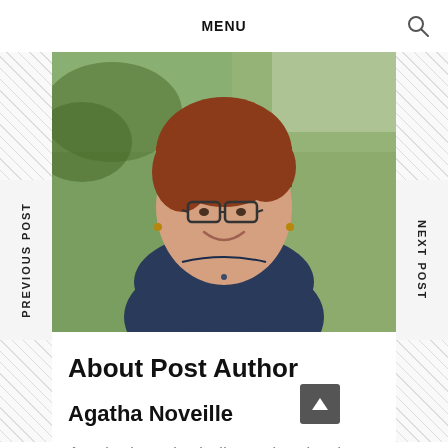MENU
[Figure (photo): Portrait photo of Agatha Noveille, a woman with short auburn hair and glasses, wearing a dark blue top, smiling outdoors in front of green grass and trees.]
About Post Author
Agatha Noveille
Agatha is an herbalist and author in Atlanta, Georgia. She founded Indie Herbalist in 2011. Her herbal recipe